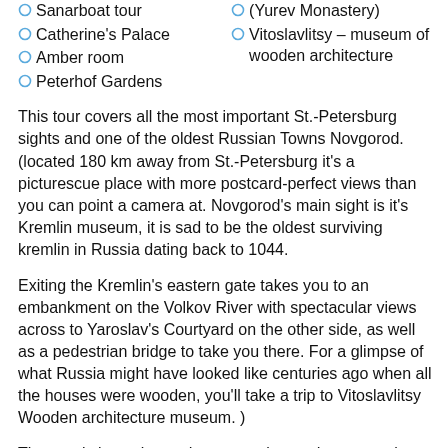Sanarboat tour
Catherine's Palace
Amber room
Peterhof Gardens
(Yurev Monastery)
Vitoslavlitsy – museum of wooden architecture
This tour covers all the most important St.-Petersburg sights and one of the oldest Russian Towns Novgorod. (located 180 km away from St.-Petersburg it's a picturescue place with more postcard-perfect views than you can point a camera at. Novgorod's main sight is it's Kremlin museum, it is sad to be the oldest surviving kremlin in Russia dating back to 1044.
Exiting the Kremlin's eastern gate takes you to an embankment on the Volkov River with spectacular views across to Yaroslav's Courtyard on the other side, as well as a pedestrian bridge to take you there. For a glimpse of what Russia might have looked like centuries ago when all the houses were wooden, you'll take a trip to Vitoslavlitsy Wooden architecture museum. )
The tour is intensive and you must be ready to see a lot.
We have carefully chosen for you museums, churches,